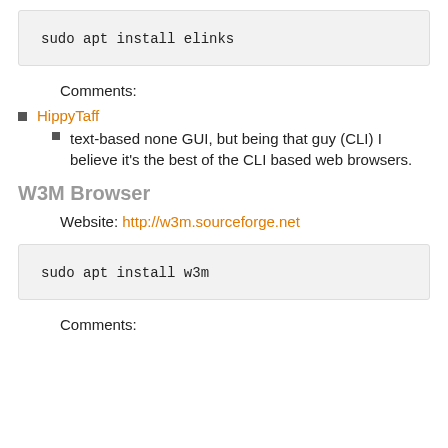Comments:
HippyTaff
text-based none GUI, but being that guy (CLI) I believe it's the best of the CLI based web browsers.
W3M Browser
Website: http://w3m.sourceforge.net
Comments: